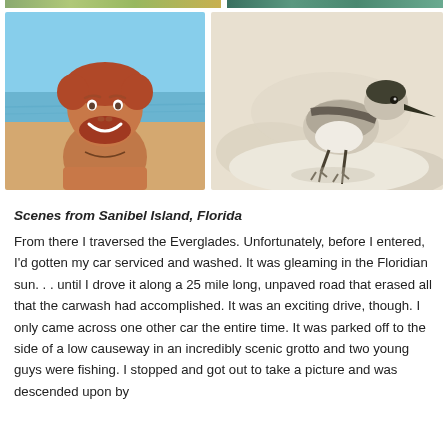[Figure (photo): Partial view of top row of two photos (cropped at top) - left shows outdoor/nature scene, right shows another outdoor scene]
[Figure (photo): Man with red beard smiling at beach selfie with ocean in background]
[Figure (photo): Small sandpiper bird standing on white sand]
Scenes from Sanibel Island, Florida
From there I traversed the Everglades. Unfortunately, before I entered, I'd gotten my car serviced and washed. It was gleaming in the Floridian sun. . . until I drove it along a 25 mile long, unpaved road that erased all that the carwash had accomplished. It was an exciting drive, though. I only came across one other car the entire time. It was parked off to the side of a low causeway in an incredibly scenic grotto and two young guys were fishing. I stopped and got out to take a picture and was descended upon by